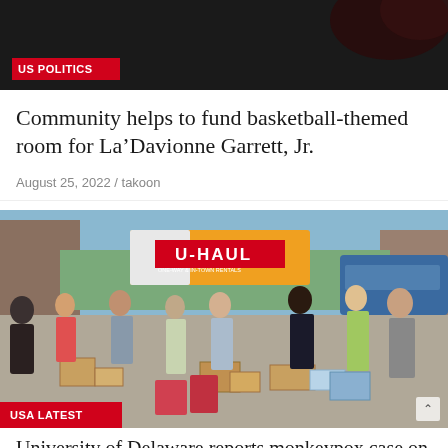[Figure (photo): Dark background image with US POLITICS red badge label in lower left corner]
Community helps to fund basketball-themed room for La’Davionne Garrett, Jr.
August 25, 2022 / takoon
[Figure (photo): Outdoor scene of many people moving boxes and luggage, with a U-Haul truck visible in the background. A red USA LATEST badge is overlaid in the bottom-left corner. A scroll-up arrow button is in the bottom-right corner.]
University of Delaware reports monkeypox case on